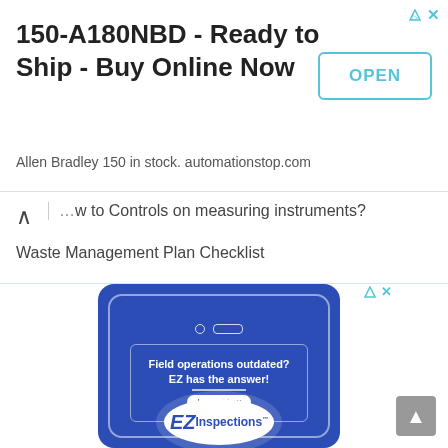[Figure (screenshot): Advertisement banner: '150-A180NBD - Ready to Ship - Buy Online Now' with OPEN button. Allen Bradley 150 in stock. automationstop.com]
How to Controls on measuring instruments?
Waste Management Plan Checklist
[Figure (screenshot): EZ Inspections advertisement showing a mobile phone with text 'Field operations outdated? EZ has the answer!' and 'Learn How' button, with EZ Inspections logo at bottom.]